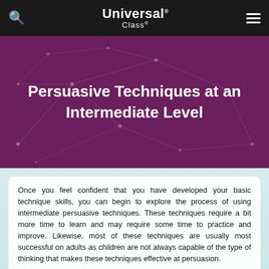Universal Class
Persuasive Techniques at an Intermediate Level
Once you feel confident that you have developed your basic technique skills, you can begin to explore the process of using intermediate persuasive techniques. These techniques require a bit more time to learn and may require some time to practice and improve. Likewise, most of these techniques are usually most successful on adults as children are not always capable of the type of thinking that makes these techniques effective at persuasion.
Charisma